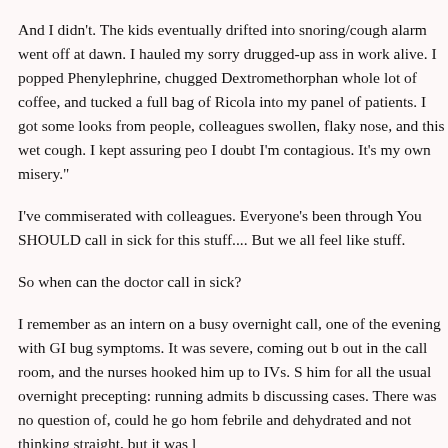And I didn't. The kids eventually drifted into snoring/cough alarm went off at dawn. I hauled my sorry drugged-up ass in work alive. I popped Phenylephrine, chugged Dextromethorphan whole lot of coffee, and tucked a full bag of Ricola into my panel of patients. I got some looks from people, colleagues swollen, flaky nose, and this wet cough. I kept assuring peo I doubt I'm contagious. It's my own misery."
I've commiserated with colleagues. Everyone's been through You SHOULD call in sick for this stuff.... But we all feel lik stuff.
So when can the doctor call in sick?
I remember as an intern on a busy overnight call, one of the evening with GI bug symptoms. It was severe, coming out b out in the call room, and the nurses hooked him up to IVs. S him for all the usual overnight precepting: running admits b discussing cases. There was no question of, could he go hom febrile and dehydrated and not thinking straight, but it was l